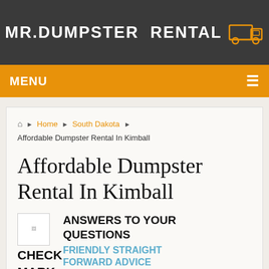MR.DUMPSTER RENTAL
MENU
Home › South Dakota › Affordable Dumpster Rental In Kimball
Affordable Dumpster Rental In Kimball
ANSWERS TO YOUR QUESTIONS FRIENDLY STRAIGHT FORWARD ADVICE
CHECKMARK FOR CHEAP